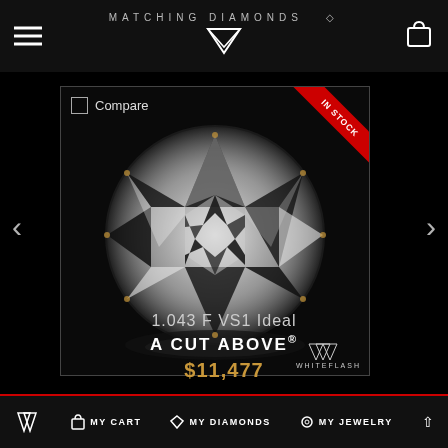MATCHING DIAMONDS
[Figure (photo): Round brilliant cut diamond viewed from above, showing star pattern with alternating white and dark facets. In Stock red ribbon in top-right corner. Compare checkbox in top-left. Whiteflash watermark in bottom-right.]
1.043 F VS1 Ideal
A CUT ABOVE®
$11,477
MY CART   MY DIAMONDS   MY JEWELRY